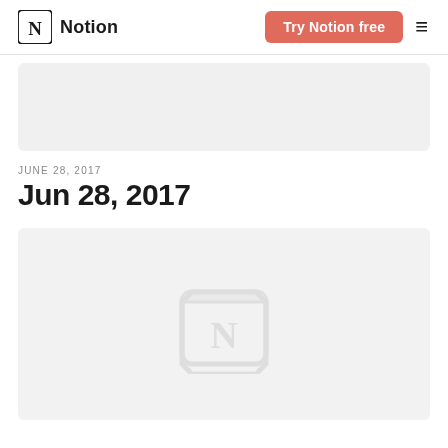Notion | Try Notion free
[Figure (other): Gray placeholder image area at top]
JUNE 28, 2017
Jun 28, 2017
[Figure (logo): Gray placeholder area with faint Notion logo watermark in center]